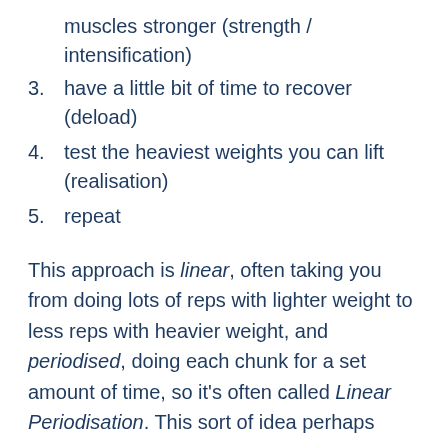muscles stronger (strength / intensification)
3. have a little bit of time to recover (deload)
4. test the heaviest weights you can lift (realisation)
5. repeat
This approach is linear, often taking you from doing lots of reps with lighter weight to less reps with heavier weight, and periodised, doing each chunk for a set amount of time, so it’s often called Linear Periodisation. This sort of idea perhaps